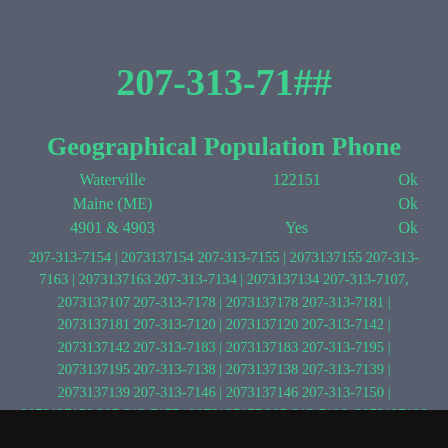207-313-71##
Geographical Population Phone
|  | Population | Phone |
| --- | --- | --- |
| Waterville | 122151 | Ok |
| Maine (ME) |  | Ok |
| 4901 & 4903 | Yes | Ok |
207-313-7154 | 2073137154 207-313-7155 | 2073137155 207-313-7163 | 2073137163 207-313-7134 | 2073137134 207-313-7107, 2073137107 207-313-7178 | 2073137178 207-313-7181 | 2073137181 207-313-7120 | 2073137120 207-313-7142 | 2073137142 207-313-7183 | 2073137183 207-313-7195 | 2073137195 207-313-7138 | 2073137138 207-313-7139 | 2073137139 207-313-7146 | 2073137146 207-313-7150 | 2073137150 207-313-7177 | 2073137177 207-313-7106, 2073137106 207-313-7115 | 2073137115